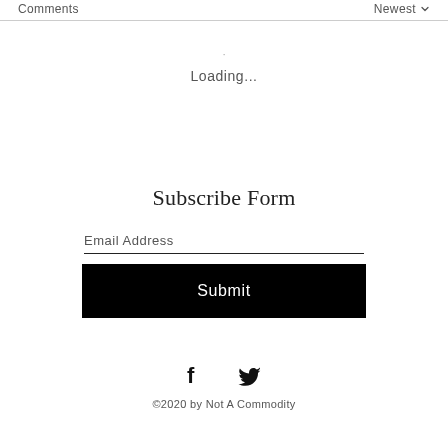Comments   Newest
Loading...
Subscribe Form
Email Address
Submit
[Figure (illustration): Social media icons: Facebook and Twitter logos in black]
©2020 by Not A Commodity